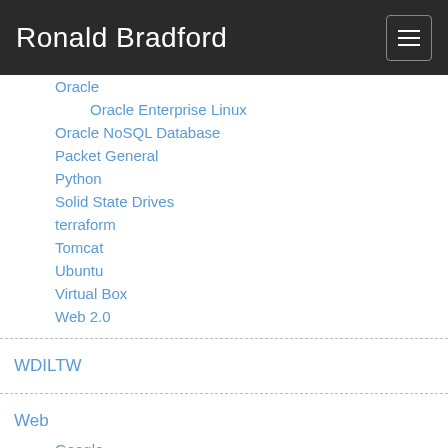Ronald Bradford
Oracle
Oracle Enterprise Linux
Oracle NoSQL Database
Packet General
Python
Solid State Drives
terraform
Tomcat
Ubuntu
Virtual Box
Web 2.0
WDILTW
Web
Google
PHP
SEO